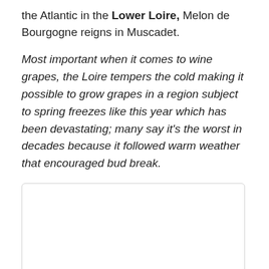the Atlantic in the Lower Loire, Melon de Bourgogne reigns in Muscadet.
Most important when it comes to wine grapes, the Loire tempers the cold making it possible to grow grapes in a region subject to spring freezes like this year which has been devastating; many say it's the worst in decades because it followed warm weather that encouraged bud break.
[Figure (other): Empty white rectangular placeholder image with light gray border and rounded corners]